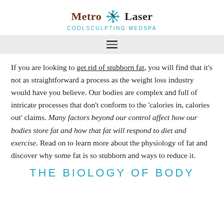Metro Laser COOLSCULPTING MEDSPA
If you are looking to get rid of stubborn fat, you will find that it's not as straightforward a process as the weight loss industry would have you believe. Our bodies are complex and full of intricate processes that don't conform to the 'calories in, calories out' claims. Many factors beyond our control affect how our bodies store fat and how that fat will respond to diet and exercise. Read on to learn more about the physiology of fat and discover why some fat is so stubborn and ways to reduce it.
THE BIOLOGY OF BODY